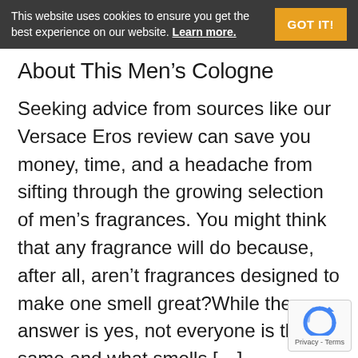This website uses cookies to ensure you get the best experience on our website. Learn more. GOT IT!
About This Men’s Cologne
Seeking advice from sources like our Versace Eros review can save you money, time, and a headache from sifting through the growing selection of men’s fragrances. You might think that any fragrance will do because, after all, aren’t fragrances designed to make one smell great?While the answer is yes, not everyone is the same and what smells […]